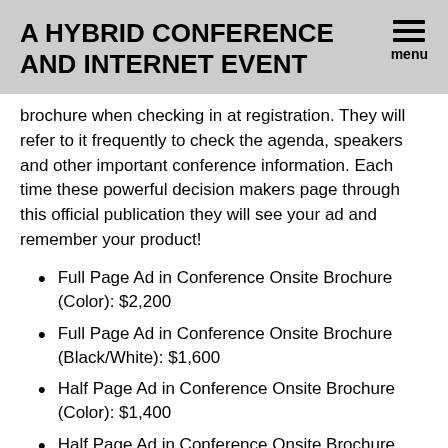A HYBRID CONFERENCE AND INTERNET EVENT
brochure when checking in at registration. They will refer to it frequently to check the agenda, speakers and other important conference information. Each time these powerful decision makers page through this official publication they will see your ad and remember your product!
Full Page Ad in Conference Onsite Brochure (Color): $2,200
Full Page Ad in Conference Onsite Brochure (Black/White): $1,600
Half Page Ad in Conference Onsite Brochure (Color): $1,400
Half Page Ad in Conference Onsite Brochure (Black/White): $1,100